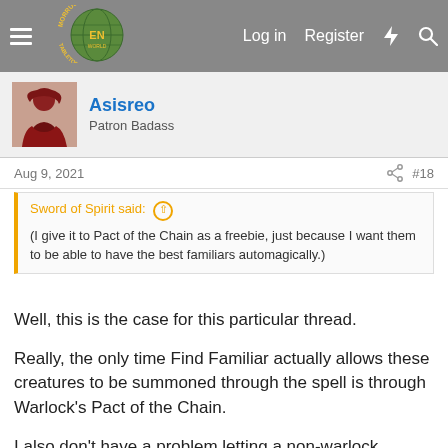Morrus' Unofficial Tabletop RPG News — Log in  Register
Asisreo
Patron Badass
Aug 9, 2021  #18
Sword of Spirit said: ↑
(I give it to Pact of the Chain as a freebie, just because I want them to be able to have the best familiars automagically.)
Well, this is the case for this particular thread.
Really, the only time Find Familiar actually allows these creatures to be summoned through the spell is through Warlock's Pact of the Chain.
I also don't have a problem letting a non-warlock character finding them as a reward. I'd even let a Ranger have a